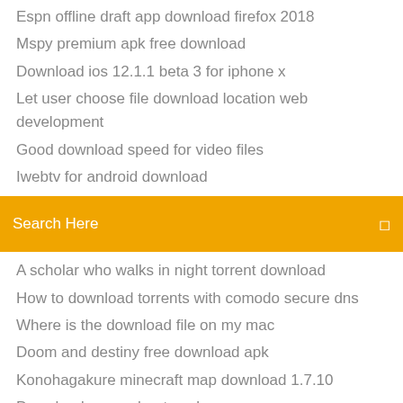Espn offline draft app download firefox 2018
Mspy premium apk free download
Download ios 12.1.1 beta 3 for iphone x
Let user choose file download location web development
Good download speed for video files
Iwebtv for android download
Search Here
A scholar who walks in night torrent download
How to download torrents with comodo secure dns
Where is the download file on my mac
Doom and destiny free download apk
Konohagakure minecraft map download 1.7.10
Download mcpe cheats apk
Hp g6 1b60us drivers windows 10 download
Fluent forever book pdf download
Power rangers minecraft skin xbox download
How to download file from girhub
Amd ahci driver download